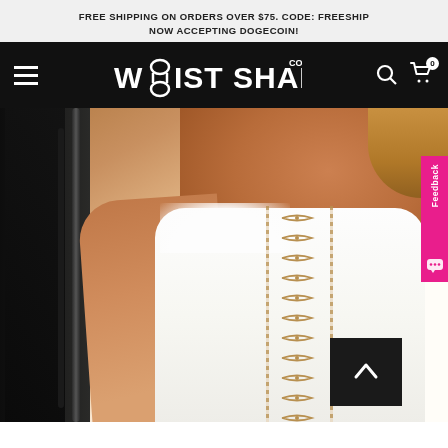FREE SHIPPING ON ORDERS OVER $75. CODE: FREESHIP
NOW ACCEPTING DOGECOIN!
[Figure (logo): Waist Shaper Co logo in white on black navigation bar with hamburger menu, search icon, and cart icon showing 0 items]
[Figure (photo): Woman wearing a white off-shoulder corset/waist shaper with hook-and-eye closures and boning details, posed in front of dark staircase railing. A pink Feedback tab and dark scroll-to-top button are overlaid on the right side.]